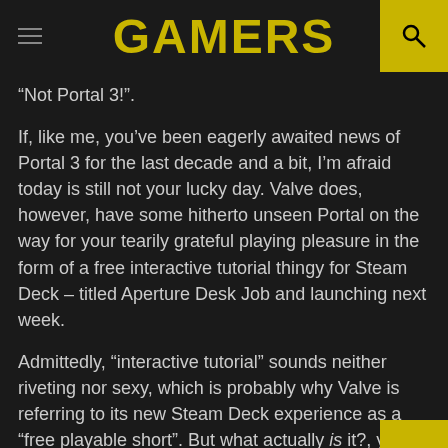GAMERS
“Not Portal 3!”.
If, like me, you’ve been eagerly awaited news of Portal 3 for the last decade and a bit, I’m afraid today is still not your lucky day. Valve does, however, have some hitherto unseen Portal on the way for your tearily grateful playing pleasure in the form of a free interactive tutorial thingy for Steam Deck – titled Aperture Desk Job and launching next week.
Admittedly, “interactive tutorial” sounds neither riveting nor sexy, which is probably why Valve is referring to its new Steam Deck experience as a “free playable short”. But what actually is it?, you may be wondering. Well, in much the same way as Valve returned to the Portal universe for its entirely endearing Steam VR performance test a few